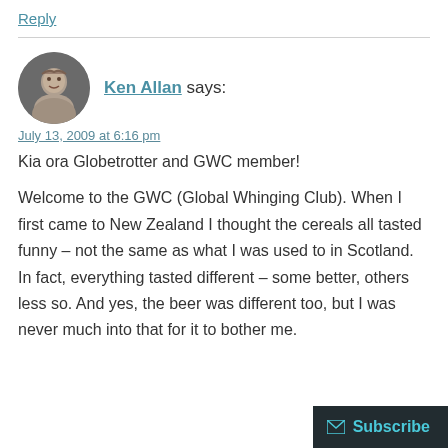Reply
Ken Allan says:
July 13, 2009 at 6:16 pm
Kia ora Globetrotter and GWC member!

Welcome to the GWC (Global Whinging Club). When I first came to New Zealand I thought the cereals all tasted funny – not the same as what I was used to in Scotland. In fact, everything tasted different – some better, others less so. And yes, the beer was different too, but I was never much into that for it to bother me.
Subscribe